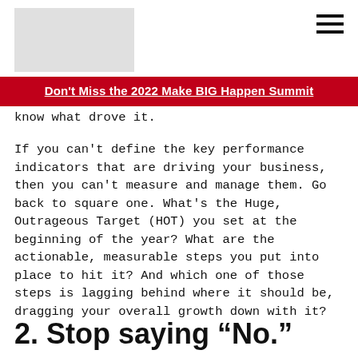Don't Miss the 2022 Make BIG Happen Summit
know what drove it.
If you can't define the key performance indicators that are driving your business, then you can't measure and manage them. Go back to square one. What's the Huge, Outrageous Target (HOT) you set at the beginning of the year? What are the actionable, measurable steps you put into place to hit it? And which one of those steps is lagging behind where it should be, dragging your overall growth down with it?
2. Stop saying “No.”